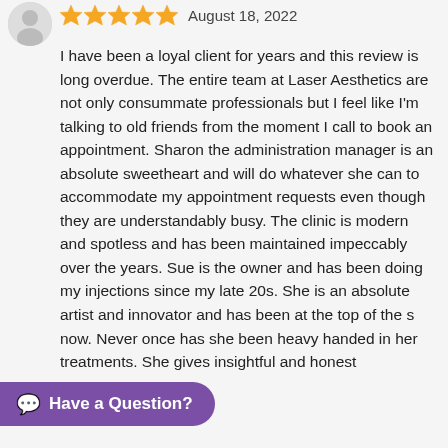[Figure (photo): User avatar/profile picture thumbnail in top-left corner]
★★★★★ August 18, 2022
I have been a loyal client for years and this review is long overdue. The entire team at Laser Aesthetics are not only consummate professionals but I feel like I'm talking to old friends from the moment I call to book an appointment. Sharon the administration manager is an absolute sweetheart and will do whatever she can to accommodate my appointment requests even though they are understandably busy. The clinic is modern and spotless and has been maintained impeccably over the years. Sue is the owner and has been doing my injections since my late 20s. She is an absolute artist and innovator and has been at the top of the s now. Never once has she been heavy handed in her treatments. She gives insightful and honest
Have a Question?